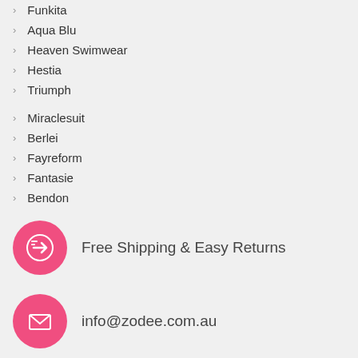Funkita
Aqua Blu
Heaven Swimwear
Hestia
Triumph
Miraclesuit
Berlei
Fayreform
Fantasie
Bendon
Playtex
Funky Trunks
Bonds
Ambra
Free Shipping & Easy Returns
info@zodee.com.au